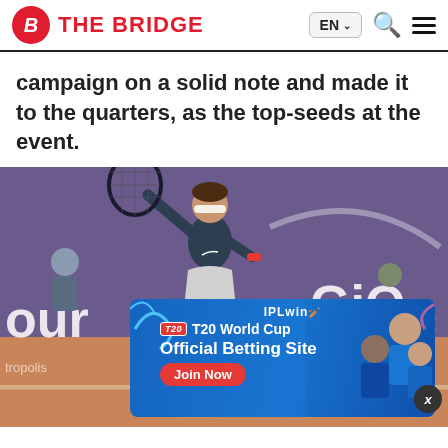THE BRIDGE
campaign on a solid note and made it to the quarters, as the top-seeds at the event.
[Figure (photo): Tennis player (Sania Mirza) on a clay court holding a racket, with a purple banner background. An IPLwin T20 World Cup Official Betting Site advertisement overlay is visible in the lower portion.]